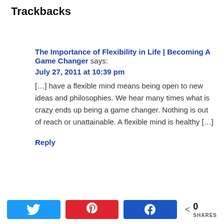Trackbacks
The Importance of Flexibility in Life | Becoming A Game Changer says:
July 27, 2011 at 10:39 pm
[…] have a flexible mind means being open to new ideas and philosophies. We hear many times what is crazy ends up being a game changer. Nothing is out of reach or unattainable. A flexible mind is healthy […]
Reply
0 SHARES (Twitter, Pinterest, Facebook share buttons)